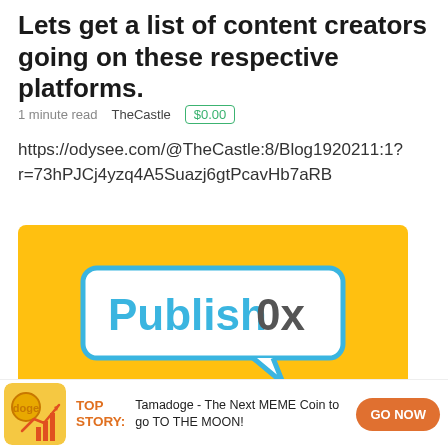Lets get a list of content creators going on these respective platforms.
1 minute read   TheCastle   $0.00
https://odysee.com/@TheCastle:8/Blog1920211:1?r=73hPJCj4yzq4A5Suazj6gtPcavHb7aRB
[Figure (logo): PublishOx logo — white speech bubble with blue border containing the text 'Publish0x' in blue and dark grey, on a yellow/orange background]
TOP STORY: Tamadoge - The Next MEME Coin to go TO THE MOON!